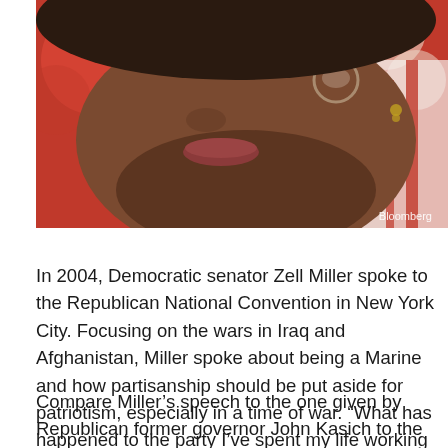[Figure (photo): Close-up photograph of a person's face (lower portion), with bokeh background in red and white tones. Bloomberg credit watermark in bottom right corner.]
In 2004, Democratic senator Zell Miller spoke to the Republican National Convention in New York City. Focusing on the wars in Iraq and Afghanistan, Miller spoke about being a Marine and how partisanship should be put aside for patriotism, especially in a time of war. “What has happened to the party I’ve spent my life working in? Miller wondered. His speech brought the house down. No speech from that convention was more memorable than Miller’s.
Compare Miller’s speech to the one given by Republican former governor John Kasich to the Democratic National Convention on Monday night.